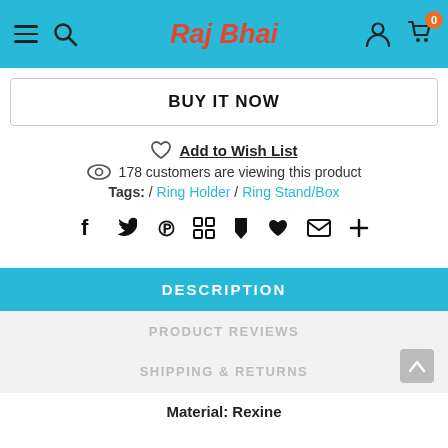Raj Bhai
BUY IT NOW
Add to Wish List
178 customers are viewing this product
Tags: / Ring Holder / Ring Stand/Box
[Figure (other): Social sharing icons: Facebook, Twitter, Pinterest, Grid, Pin/Bookmark, Heart, Email, Plus]
DESCRIPTION
PRODUCT REVIEWS
SHIPPING & RETURNS
Material: Rexine